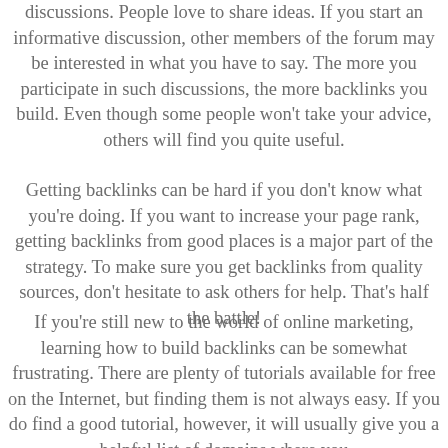discussions. People love to share ideas. If you start an informative discussion, other members of the forum may be interested in what you have to say. The more you participate in such discussions, the more backlinks you build. Even though some people won't take your advice, others will find you quite useful.
Getting backlinks can be hard if you don't know what you're doing. If you want to increase your page rank, getting backlinks from good places is a major part of the strategy. To make sure you get backlinks from quality sources, don't hesitate to ask others for help. That's half the battle!
If you're still new to the world of online marketing, learning how to build backlinks can be somewhat frustrating. There are plenty of tutorials available for free on the Internet, but finding them is not always easy. If you do find a good tutorial, however, it will usually give you a helpful list of domains where you